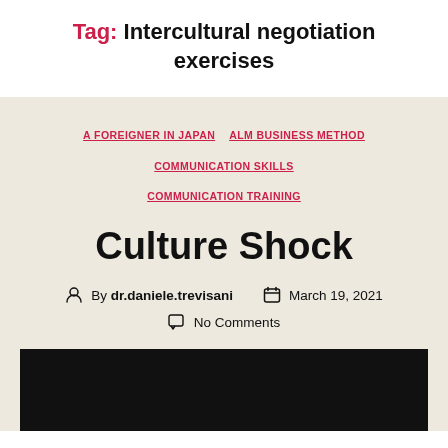Tag: Intercultural negotiation exercises
A FOREIGNER IN JAPAN
ALM BUSINESS METHOD
COMMUNICATION SKILLS
COMMUNICATION TRAINING
Culture Shock
By dr.daniele.trevisani   March 19, 2021   No Comments
[Figure (photo): Black image placeholder at the bottom of the page]